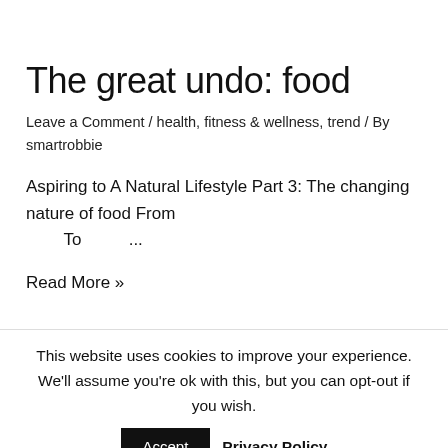The great undo: food
Leave a Comment / health, fitness & wellness, trend / By smartrobbie
Aspiring to A Natural Lifestyle Part 3: The changing nature of food From
        To          ...
Read More »
This website uses cookies to improve your experience. We'll assume you're ok with this, but you can opt-out if you wish.
Accept   Privacy Policy